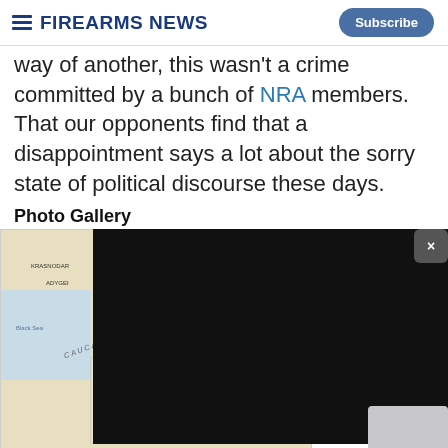Firearms News
way of another, this wasn't a crime committed by a bunch of NRA members. That our opponents find that a disappointment says a lot about the sorry state of political discourse these days.
Photo Gallery
[Figure (map): Map showing the Caucasus region including Russia, Georgia, Armenia, and surrounding areas with Nagorno-Karabakh highlighted]
[Figure (screenshot): Black video overlay panel]
We use cookies to provide you with the best experience in Outdoors programming. Click accept to continue or read about our Privacy Policy.